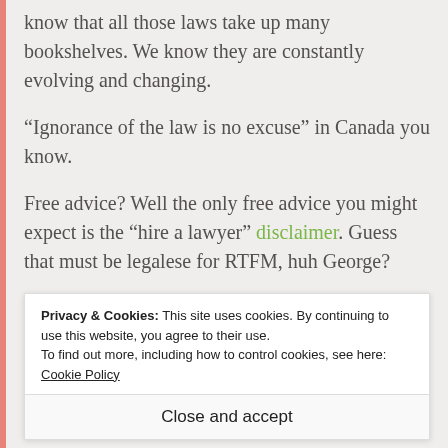know that all those laws take up many bookshelves. We know they are constantly evolving and changing.
“Ignorance of the law is no excuse” in Canada you know.
Free advice? Well the only free advice you might expect is the “hire a lawyer” disclaimer. Guess that must be legalese for RTFM, huh George?
★ Like
Privacy & Cookies: This site uses cookies. By continuing to use this website, you agree to their use.
To find out more, including how to control cookies, see here: Cookie Policy
Close and accept